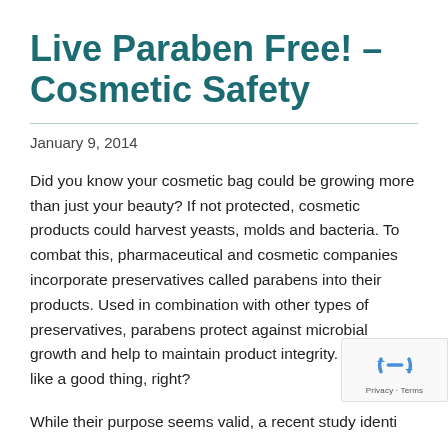Live Paraben Free! – Cosmetic Safety
January 9, 2014
Did you know your cosmetic bag could be growing more than just your beauty? If not protected, cosmetic products could harvest yeasts, molds and bacteria. To combat this, pharmaceutical and cosmetic companies incorporate preservatives called parabens into their products. Used in combination with other types of preservatives, parabens protect against microbial growth and help to maintain product integrity. Seems like a good thing, right?
While their purpose seems valid, a recent study identi… paraben in a number of found to reach the…